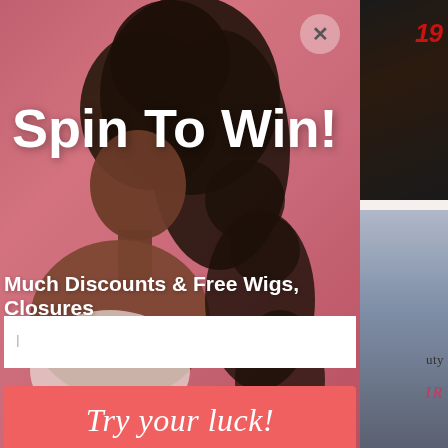[Figure (screenshot): E-commerce website popup modal with pink background showing a woman with curly hair. Contains 'Spin To Win!' headline, subtitle about discounts and free wigs, an email input field, and a 'Try your luck!' button. Right side shows a sliver of the underlying website.]
Spin To Win!
Much Discounts & Free Wigs, Closures
Try your luck!